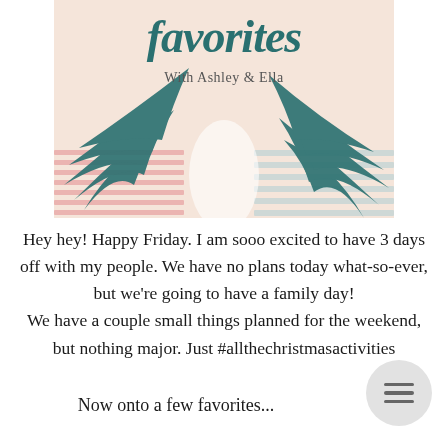[Figure (illustration): Blog banner image with teal script text reading 'favorites', subtitle 'With Ashley & Ella', decorative tropical palm leaf elements, and pastel pink/blue stripe patterns on a blush background.]
Hey hey! Happy Friday. I am sooo excited to have 3 days off with my people. We have no plans today what-so-ever, but we're going to have a family day!
We have a couple small things planned for the weekend, but nothing major. Just #allthechristmasactivities
Now onto a few favorites...